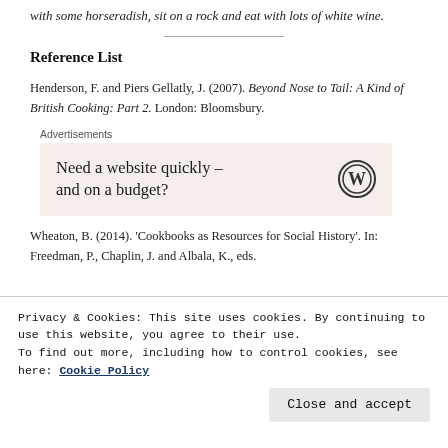with some horseradish, sit on a rock and eat with lots of white wine.
Reference List
Henderson, F. and Piers Gellatly, J. (2007). Beyond Nose to Tail: A Kind of British Cooking: Part 2. London: Bloomsbury.
[Figure (other): WordPress advertisement banner: 'Need a website quickly – and on a budget?' with WordPress logo]
Wheaton, B. (2014). 'Cookbooks as Resources for Social History'. In: Freedman, P., Chaplin, J. and Albala, K., eds.
Privacy & Cookies: This site uses cookies. By continuing to use this website, you agree to their use. To find out more, including how to control cookies, see here: Cookie Policy
Close and accept